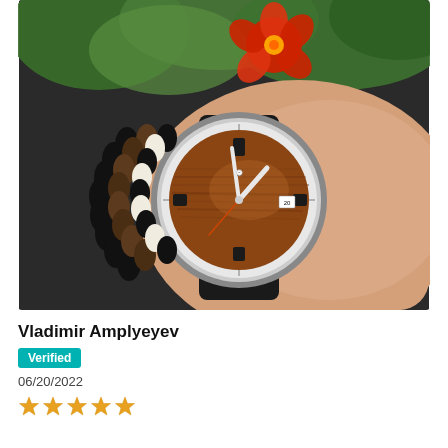[Figure (photo): Close-up photo of a wrist wearing a wood-dial watch with black rubber strap and a silver bezel, alongside multiple beaded bracelets in black, brown, and white. A red hibiscus flower and green leaves visible in the background.]
Vladimir Amplyeyev
Verified
06/20/2022
[Figure (other): Five gold/orange star rating icons]